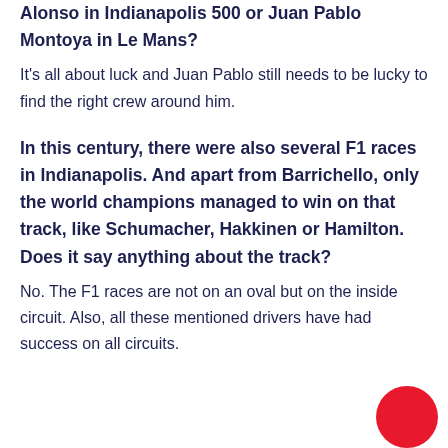Alonso in Indianapolis 500 or Juan Pablo Montoya in Le Mans?
It's all about luck and Juan Pablo still needs to be lucky to find the right crew around him.
In this century, there were also several F1 races in Indianapolis. And apart from Barrichello, only the world champions managed to win on that track, like Schumacher, Hakkinen or Hamilton. Does it say anything about the track?
No. The F1 races are not on an oval but on the inside circuit. Also, all these mentioned drivers have had success on all circuits.